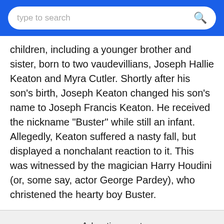type to search
children, including a younger brother and sister, born to two vaudevillians, Joseph Hallie Keaton and Myra Cutler. Shortly after his son's birth, Joseph Keaton changed his son's name to Joseph Francis Keaton. He received the nickname "Buster" while still an infant. Allegedly, Keaton suffered a nasty fall, but displayed a nonchalant reaction to it. This was witnessed by the magician Harry Houdini (or, some say, actor George Pardey), who christened the hearty boy Buster.
Advertisement